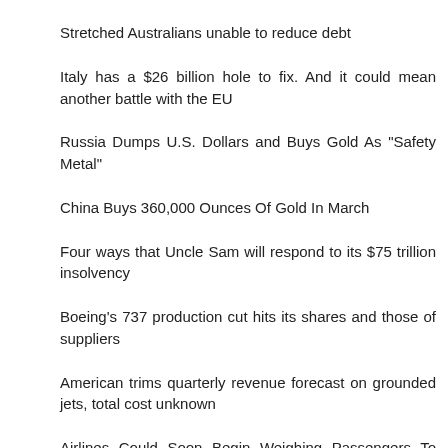Stretched Australians unable to reduce debt
Italy has a $26 billion hole to fix. And it could mean another battle with the EU
Russia Dumps U.S. Dollars and Buys Gold As "Safety Metal"
China Buys 360,000 Ounces Of Gold In March
Four ways that Uncle Sam will respond to its $75 trillion insolvency
Boeing's 737 production cut hits its shares and those of suppliers
American trims quarterly revenue forecast on grounded jets, total cost unknown
Airlines Could Soon Begin Weighing Passengers To Save Fuel